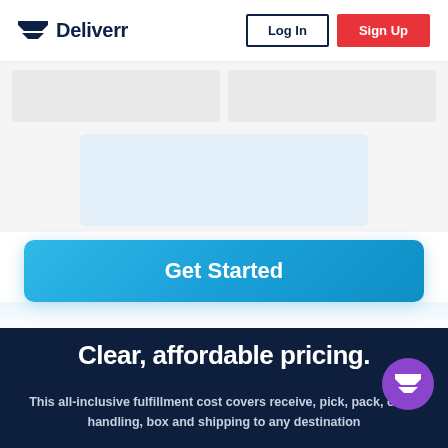Deliverr — Log In | Sign Up
[Figure (screenshot): Two grey placeholder card panels side by side, and one blue-tinted card centered below]
Get Started
Clear, affordable pricing.
This all-inclusive fulfillment cost covers receive, pick, pack, order handling, box and shipping to any destination